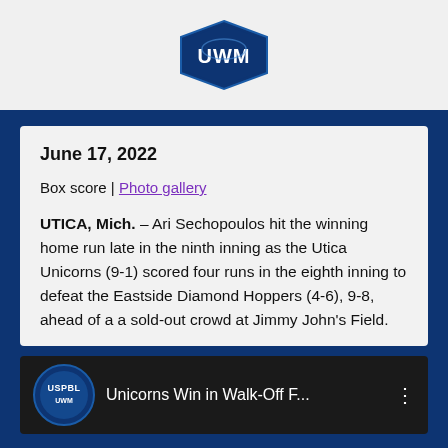[Figure (logo): UWM logo badge in navy blue with white text]
June 17, 2022
Box score | Photo gallery
UTICA, Mich. – Ari Sechopoulos hit the winning home run late in the ninth inning as the Utica Unicorns (9-1) scored four runs in the eighth inning to defeat the Eastside Diamond Hoppers (4-6), 9-8, ahead of a a sold-out crowd at Jimmy John's Field.
[Figure (screenshot): Video thumbnail: USPBL logo badge on dark background with text 'Unicorns Win in Walk-Off F...' and vertical dots menu icon]